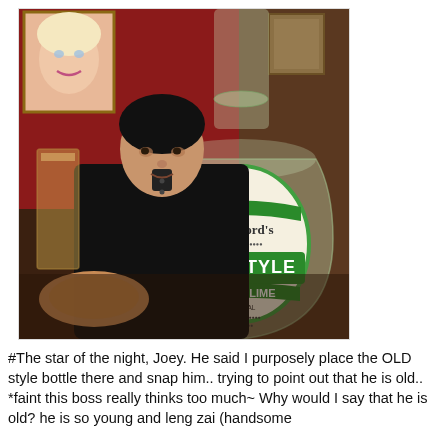[Figure (photo): A man in a black shirt sitting at a table in a restaurant/bar with red walls, a Marilyn Monroe painting in the background, a drink glass to his left, a food plate, and a large Bickford's Old Style Lemon Lime cordial bottle prominently in the foreground.]
#The star of the night, Joey. He said I purposely place the OLD style bottle there and snap him.. trying to point out that he is old.. *faint this boss really thinks too much~ Why would I say that he is old? he is so young and leng zai (handsome